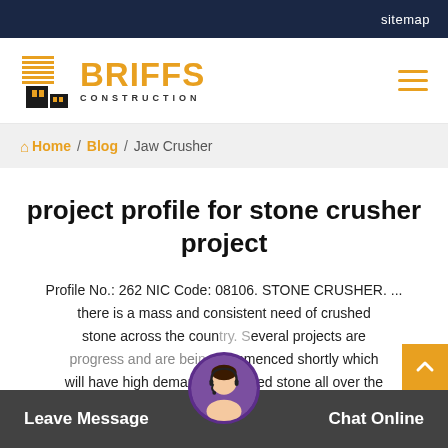sitemap
[Figure (logo): Briffs Construction logo with building icon and orange text]
Home / Blog / Jaw Crusher
project profile for stone crusher project
Profile No.: 262 NIC Code: 08106. STONE CRUSHER. ... there is a mass and consistent need of crushed stone across the country. Several projects are in progress and are being commenced shortly which will have high demand of crushed stone all over the
Leave Message   Chat Online